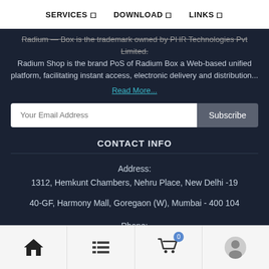SERVICES   DOWNLOAD   LINKS
Radium — Box is the trademark owned by PHR Technologies Pvt Limited. Radium Shop is the brand PoS of Radium Box a Web-based unified platform, facilitating instant access, electronic delivery and distribution...
Read More...
Your Email Address  Subscribe
CONTACT INFO
Address:
1312, Hemkunt Chambers, Nehru Place, New Delhi -19

40-GF, Harmony Mall, Goregaon (W), Mumbai - 400 104

Phone:
+91-84343 84343

Email:
Home  List  Cart (0)  Profile